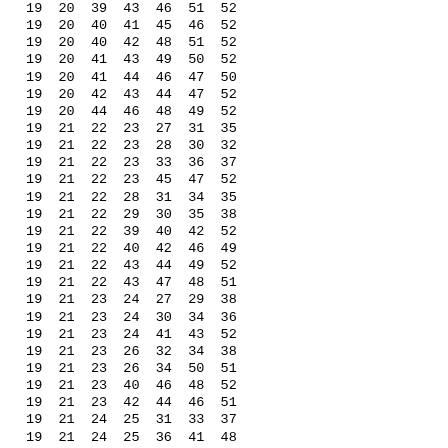| 19 | 20 | 39 | 43 | 46 | 51 | 52 |
| 19 | 20 | 40 | 41 | 45 | 46 | 52 |
| 19 | 20 | 40 | 42 | 48 | 51 | 52 |
| 19 | 20 | 41 | 43 | 49 | 50 | 52 |
| 19 | 20 | 41 | 44 | 46 | 47 | 50 |
| 19 | 20 | 42 | 43 | 44 | 47 | 52 |
| 19 | 20 | 44 | 46 | 48 | 49 | 52 |
| 19 | 21 | 22 | 23 | 27 | 31 | 35 |
| 19 | 21 | 22 | 23 | 28 | 30 | 32 |
| 19 | 21 | 22 | 23 | 33 | 36 | 37 |
| 19 | 21 | 22 | 23 | 45 | 47 | 52 |
| 19 | 21 | 22 | 28 | 31 | 34 | 35 |
| 19 | 21 | 22 | 29 | 30 | 35 | 38 |
| 19 | 21 | 22 | 39 | 40 | 42 | 52 |
| 19 | 21 | 22 | 40 | 42 | 46 | 49 |
| 19 | 21 | 22 | 43 | 44 | 49 | 52 |
| 19 | 21 | 22 | 43 | 47 | 48 | 51 |
| 19 | 21 | 23 | 24 | 27 | 29 | 38 |
| 19 | 21 | 23 | 24 | 30 | 34 | 36 |
| 19 | 21 | 23 | 24 | 41 | 43 | 52 |
| 19 | 21 | 23 | 26 | 32 | 34 | 38 |
| 19 | 21 | 23 | 26 | 34 | 50 | 51 |
| 19 | 21 | 23 | 40 | 46 | 48 | 52 |
| 19 | 21 | 23 | 42 | 44 | 46 | 51 |
| 19 | 21 | 24 | 25 | 31 | 33 | 37 |
| 19 | 21 | 24 | 25 | 36 | 41 | 48 |
| 19 | 21 | 24 | 26 | 29 | 30 | 37 |
| 19 | 21 | 24 | 27 | 33 | 35 | 36 |
| 19 | 21 | 24 | 29 | 32 | 40 | 49 |
| 19 | 21 | 24 | 39 | 45 | 47 | 48 |